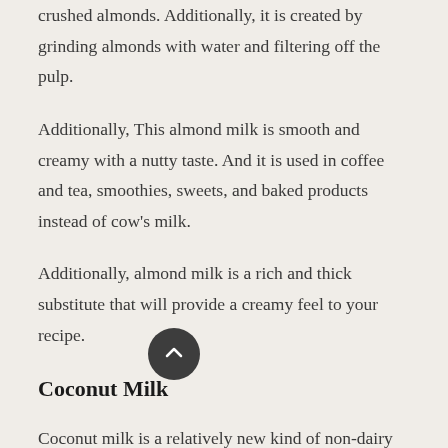crushed almonds. Additionally, it is created by grinding almonds with water and filtering off the pulp.
Additionally, This almond milk is smooth and creamy with a nutty taste. And it is used in coffee and tea, smoothies, sweets, and baked products instead of cow's milk.
Additionally, almond milk is a rich and thick substitute that will provide a creamy feel to your recipe.
Coconut Milk
Coconut milk is a relatively new kind of non-dairy milk. It's an excellent option when you're in the mood for something creamy. Additionally, it is made from water